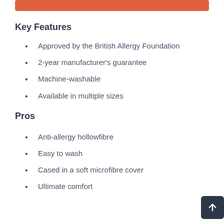[Figure (other): Red/orange rounded rectangle button at top]
Key Features
Approved by the British Allergy Foundation
2-year manufacturer's guarantee
Machine-washable
Available in multiple sizes
Pros
Anti-allergy hollowfibre
Easy to wash
Cased in a soft microfibre cover
Ultimate comfort